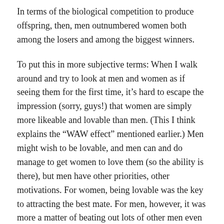In terms of the biological competition to produce offspring, then, men outnumbered women both among the losers and among the biggest winners.
To put this in more subjective terms: When I walk around and try to look at men and women as if seeing them for the first time, it’s hard to escape the impression (sorry, guys!) that women are simply more likeable and lovable than men. (This I think explains the “WAW effect” mentioned earlier.) Men might wish to be lovable, and men can and do manage to get women to love them (so the ability is there), but men have other priorities, other motivations. For women, being lovable was the key to attracting the best mate. For men, however, it was more a matter of beating out lots of other men even to have a chance for a mate.